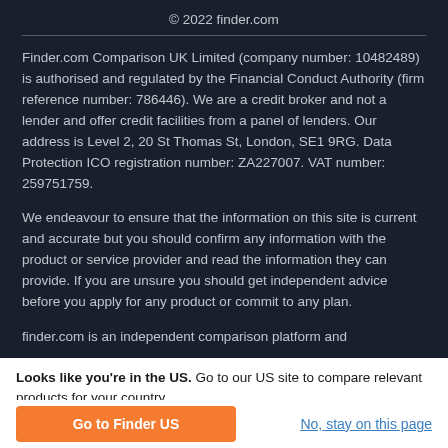© 2022 finder.com
Finder.com Comparison UK Limited (company number: 10482489) is authorised and regulated by the Financial Conduct Authority (firm reference number: 786446). We are a credit broker and not a lender and offer credit facilities from a panel of lenders. Our address is Level 2, 20 St Thomas St, London, SE1 9RG. Data Protection ICO registration number: ZA227007. VAT number: 259751759.
We endeavour to ensure that the information on this site is current and accurate but you should confirm any information with the product or service provider and read the information they can provide. If you are unsure you should get independent advice before you apply for any product or commit to any plan.
finder.com is an independent comparison platform and
Looks like you're in the US. Go to our US site to compare relevant products for your country.
Go to Finder US
No, stay on this page